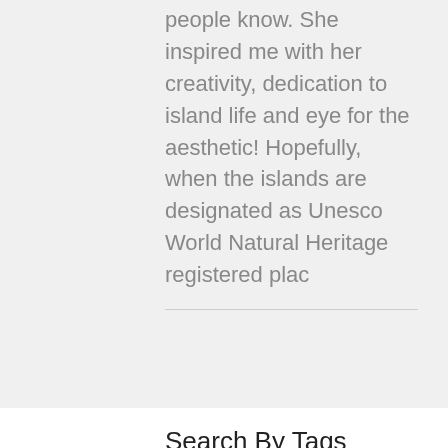people know. She inspired me with her creativity, dedication to island life and eye for the aesthetic! Hopefully, when the islands are designated as Unesco World Natural Heritage registered plac
Search By Tags
Okinawa
Amami Islands communicative ecology
community radio
Waiheke island
Amami islands blogoshpere
Amami Oshima community media
Arran Island
communicative ecology